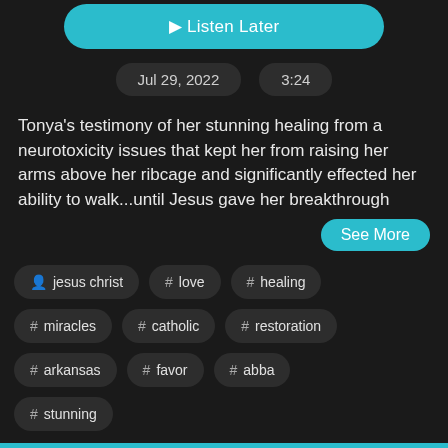[Figure (screenshot): Teal rounded button partially visible at top (Listen Later)]
Jul 29, 2022    3:24
Tonya's testimony of her stunning healing from a neurotoxicity issues that kept her from raising her arms above her ribcage and significantly effected her ability to walk...until Jesus gave her breakthrough
See More
jesus christ
# love
# healing
# miracles
# catholic
# restoration
# arkansas
# favor
# abba
# stunning